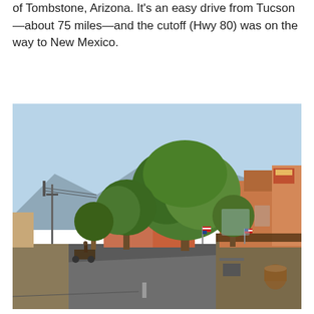of Tombstone, Arizona. It's an easy drive from Tucson —about 75 miles—and the cutoff (Hwy 80) was on the way to New Mexico.
[Figure (photo): Street view of Tombstone, Arizona showing a wide road with western-style storefronts and shops on the right side, large green trees lining the street, an O.K. Corral sign visible in the middle distance, mountains in the background, and a clear blue sky.]